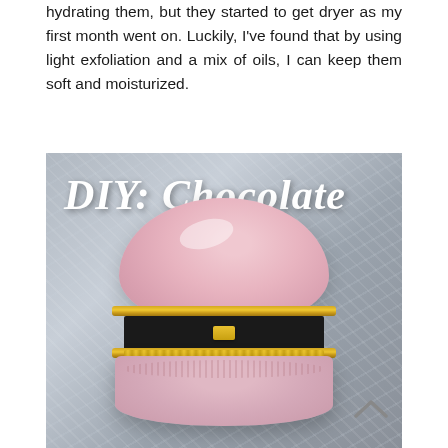hydrating them, but they started to get dryer as my first month went on. Luckily, I've found that by using light exfoliation and a mix of oils, I can keep them soft and moisturized.
[Figure (photo): A pink ceramic macaron-shaped jewelry box open at the middle, revealing a dark interior with a gold bow clasp. Gold decorative trim frames the opening. Overlaid cursive white text reads 'DIY: Chocolate'. Background is marble-textured grey.]